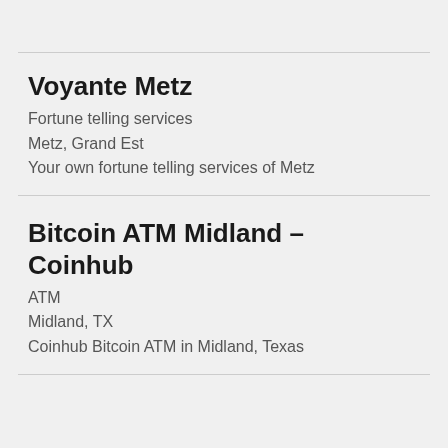Voyante Metz
Fortune telling services
Metz, Grand Est
Your own fortune telling services of Metz
Bitcoin ATM Midland – Coinhub
ATM
Midland, TX
Coinhub Bitcoin ATM in Midland, Texas